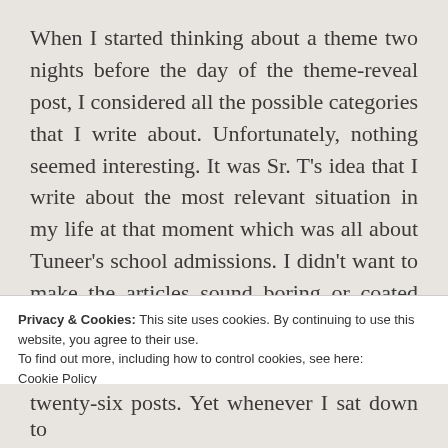When I started thinking about a theme two nights before the day of the theme-reveal post, I considered all the possible categories that I write about. Unfortunately, nothing seemed interesting. It was Sr. T's idea that I write about the most relevant situation in my life at that moment which was all about Tuneer's school admissions. I didn't want to make the articles sound boring or coated with advice. In fact, I am the kind of flawed mother who would
Privacy & Cookies: This site uses cookies. By continuing to use this website, you agree to their use.
To find out more, including how to control cookies, see here:
Cookie Policy
Close and accept
twenty-six posts. Yet whenever I sat down to